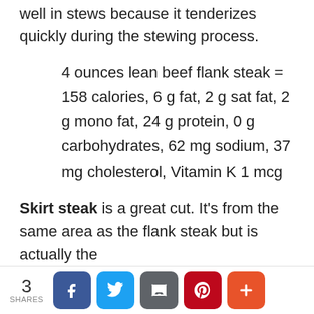well in stews because it tenderizes quickly during the stewing process.
4 ounces lean beef flank steak = 158 calories, 6 g fat, 2 g sat fat, 2 g mono fat, 24 g protein, 0 g carbohydrates, 62 mg sodium, 37 mg cholesterol, Vitamin K 1 mcg
Skirt steak is a great cut. It's from the same area as the flank steak but is actually the
3 SHARES [Facebook] [Twitter] [Email] [Pinterest] [More]